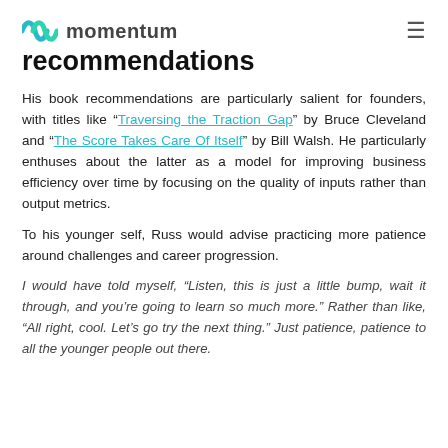momentum
recommendations
His book recommendations are particularly salient for founders, with titles like "Traversing the Traction Gap" by Bruce Cleveland and "The Score Takes Care Of Itself" by Bill Walsh. He particularly enthuses about the latter as a model for improving business efficiency over time by focusing on the quality of inputs rather than output metrics.
To his younger self, Russ would advise practicing more patience around challenges and career progression.
I would have told myself, “Listen, this is just a little bump, wait it through, and you’re going to learn so much more.” Rather than like, “All right, cool. Let’s go try the next thing.” Just patience, patience to all the younger people out there.